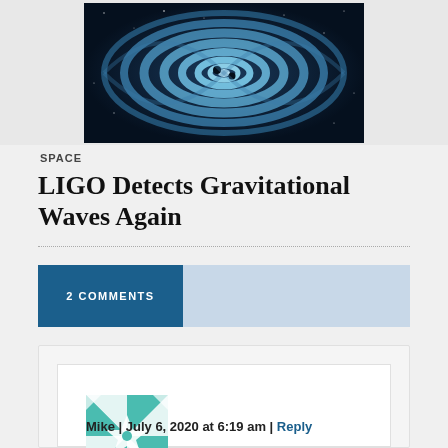[Figure (illustration): Blue spiral gravitational waves illustration showing two merging black holes with concentric spiral ripple pattern against dark starry background]
SPACE
LIGO Detects Gravitational Waves Again
2 COMMENTS
Mike | July 6, 2020 at 6:19 am | Reply